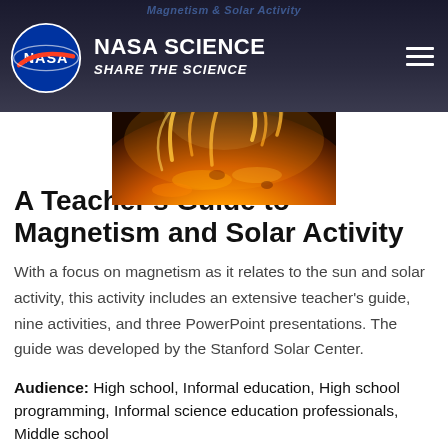NASA SCIENCE — SHARE THE SCIENCE
[Figure (photo): Close-up photograph of the sun's surface showing bright orange solar flares and magnetic field lines against a dark background]
A Teacher's Guide to Magnetism and Solar Activity
With a focus on magnetism as it relates to the sun and solar activity, this activity includes an extensive teacher's guide, nine activities, and three PowerPoint presentations. The guide was developed by the Stanford Solar Center.
Audience: High school, Informal education, High school programming, Informal science education professionals, Middle school